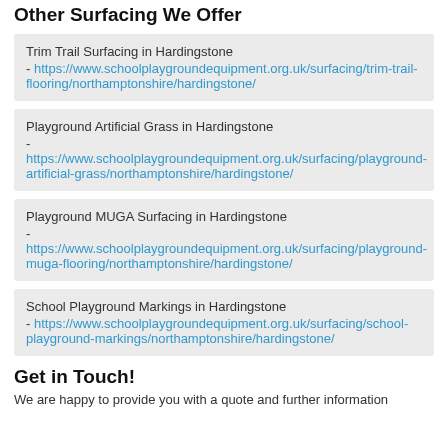Other Surfacing We Offer
Trim Trail Surfacing in Hardingstone - https://www.schoolplaygroundequipment.org.uk/surfacing/trim-trail-flooring/northamptonshire/hardingstone/
Playground Artificial Grass in Hardingstone - https://www.schoolplaygroundequipment.org.uk/surfacing/playground-artificial-grass/northamptonshire/hardingstone/
Playground MUGA Surfacing in Hardingstone - https://www.schoolplaygroundequipment.org.uk/surfacing/playground-muga-flooring/northamptonshire/hardingstone/
School Playground Markings in Hardingstone - https://www.schoolplaygroundequipment.org.uk/surfacing/school-playground-markings/northamptonshire/hardingstone/
Get in Touch!
We are happy to provide you with a quote and further information